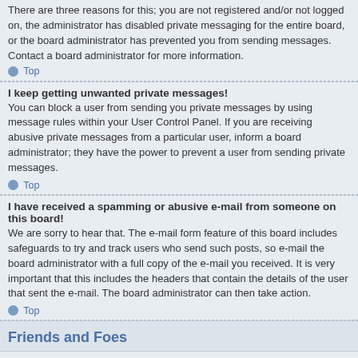There are three reasons for this; you are not registered and/or not logged on, the administrator has disabled private messaging for the entire board, or the board administrator has prevented you from sending messages. Contact a board administrator for more information.
Top
I keep getting unwanted private messages!
You can block a user from sending you private messages by using message rules within your User Control Panel. If you are receiving abusive private messages from a particular user, inform a board administrator; they have the power to prevent a user from sending private messages.
Top
I have received a spamming or abusive e-mail from someone on this board!
We are sorry to hear that. The e-mail form feature of this board includes safeguards to try and track users who send such posts, so e-mail the board administrator with a full copy of the e-mail you received. It is very important that this includes the headers that contain the details of the user that sent the e-mail. The board administrator can then take action.
Top
Friends and Foes
What are my Friends and Foes lists?
You can use these lists to organise other members of the board. Members added to your friends list will be listed within your User Control Panel for quick access to see their online status and to send them private messages. Subject to template support, posts from these users may also be highlighted. If you add a user to your foes list, any posts they make will be hidden by default.